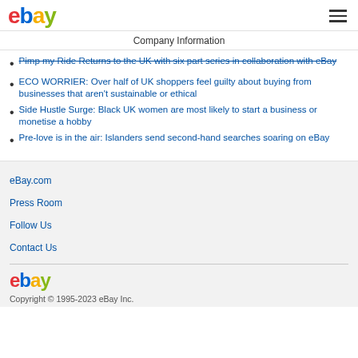eBay — Company Information
Pimp my Ride Returns to the UK with six part series in collaboration with eBay
ECO WORRIER: Over half of UK shoppers feel guilty about buying from businesses that aren't sustainable or ethical
Side Hustle Surge: Black UK women are most likely to start a business or monetise a hobby
Pre-love is in the air: Islanders send second-hand searches soaring on eBay
eBay.com
Press Room
Follow Us
Contact Us
eBay Copyright © 1995-2023